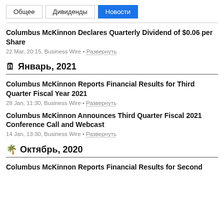Общее | Дивиденды | Новости
Columbus McKinnon Declares Quarterly Dividend of $0.06 per Share
22 Mar, 20:15, Business Wire • Развернуть
🗓 Январь, 2021
Columbus McKinnon Reports Financial Results for Third Quarter Fiscal Year 2021
28 Jan, 11:30, Business Wire • Развернуть
Columbus McKinnon Announces Third Quarter Fiscal 2021 Conference Call and Webcast
14 Jan, 13:30, Business Wire • Развернуть
🌴 Октябрь, 2020
Columbus McKinnon Reports Financial Results for Second